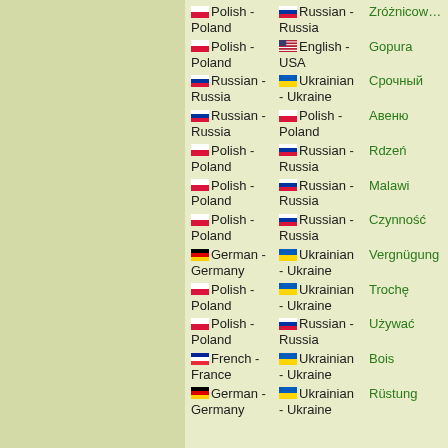Polish - Poland | Russian - Russia | Zróżnicowa…
Polish - Poland | English - USA | Gopura
Russian - Russia | Ukrainian - Ukraine | Срочный
Russian - Russia | Polish - Poland | Авеню
Polish - Poland | Russian - Russia | Rdzeń
Polish - Poland | Russian - Russia | Malawi
Polish - Poland | Russian - Russia | Czynność
German - Germany | Ukrainian - Ukraine | Vergnügung
Polish - Poland | Ukrainian - Ukraine | Trochę
Polish - Poland | Russian - Russia | Używać
French - France | Ukrainian - Ukraine | Bois
German - Germany | Ukrainian - Ukraine | Rüstung